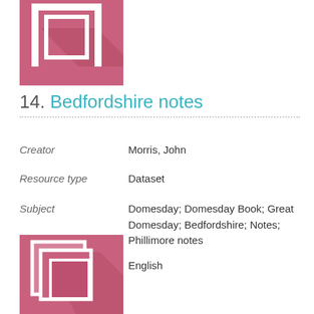[Figure (illustration): Pink/rose colored icon with nested rectangles and page/document symbol with shadow effect, upper left]
14. Bedfordshire notes
Creator    Morris, John
Resource type    Dataset
Subject    Domesday; Domesday Book; Great Domesday; Bedfordshire; Notes; Phillimore notes
Language    English
[Figure (illustration): Pink/rose colored icon with stacked/layered document pages symbol with shadow effect, lower left]